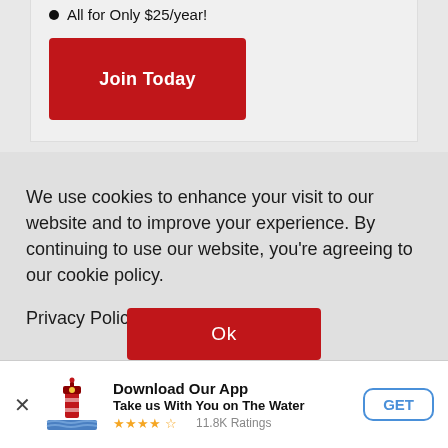All for Only $25/year!
[Figure (other): Red 'Join Today' button]
We use cookies to enhance your visit to our website and to improve your experience. By continuing to use our website, you're agreeing to our cookie policy.
Privacy Policy & Notice of Collection
[Figure (other): Red 'Ok' button]
[Figure (other): App download banner with lighthouse icon, 'Download Our App', 'Take us With You on The Water', 4.5 star rating, 11.8K Ratings, GET button]